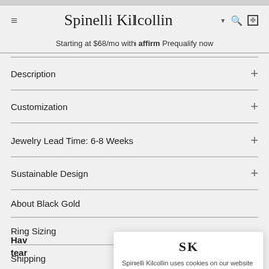Spinelli Kilcollin
Starting at $68/mo with affirm Prequalify now
Description +
Customization +
Jewelry Lead Time: 6-8 Weeks +
Sustainable Design +
About Black Gold
Ring Sizing
Shipping
[Figure (screenshot): Cookie consent popup with SK logo, cookie usage text, and ACCEPT button]
Request a sizer